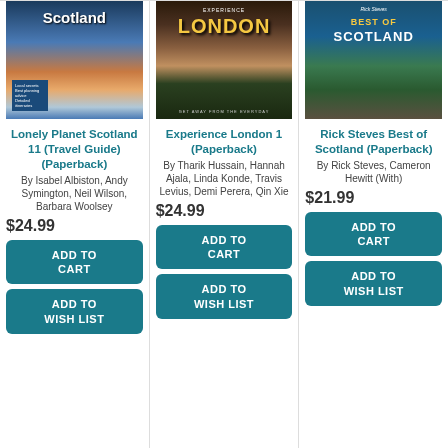[Figure (photo): Book cover: Lonely Planet Scotland 11]
Lonely Planet Scotland 11 (Travel Guide) (Paperback)
By Isabel Albiston, Andy Symington, Neil Wilson, Barbara Woolsey
$24.99
ADD TO CART
ADD TO WISH LIST
[Figure (photo): Book cover: Experience London 1]
Experience London 1 (Paperback)
By Tharik Hussain, Hannah Ajala, Linda Konde, Travis Levius, Demi Perera, Qin Xie
$24.99
ADD TO CART
ADD TO WISH LIST
[Figure (photo): Book cover: Rick Steves Best of Scotland]
Rick Steves Best of Scotland (Paperback)
By Rick Steves, Cameron Hewitt (With)
$21.99
ADD TO CART
ADD TO WISH LIST